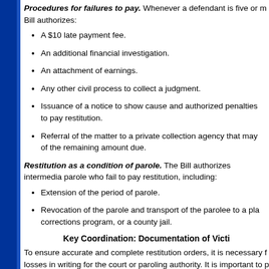Procedures for failures to pay. Whenever a defendant is five or more days late in paying, the Bill authorizes:
A $10 late payment fee.
An additional financial investigation.
An attachment of earnings.
Any other civil process to collect a judgment.
Issuance of a notice to show cause and authorized penalties for defendants who fail to pay restitution.
Referral of the matter to a private collection agency that may charge a fee of up to 25% of the remaining amount due.
Restitution as a condition of parole. The Bill authorizes intermediate sanctions for parolees on parole who fail to pay restitution, including:
Extension of the period of parole.
Revocation of the parole and transport of the parolee to a placement in a community corrections program, or a county jail.
Key Coordination: Documentation of Victim Losses
To ensure accurate and complete restitution orders, it is necessary for victims to document their losses in writing for the court or paroling authority. It is important to provide victims with guidelines about the types of documentation that are needed to depict their out-of-pocket losses and projected expenses for the future.
Some of the following considerations for guidelines should be provided: